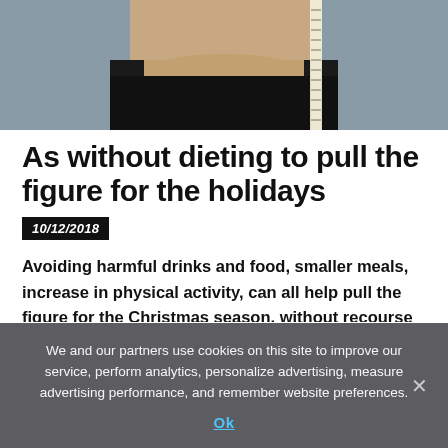[Figure (photo): Close-up photo of a person's midsection wearing black clothing, with a measuring tape around the waist, on a light grey background.]
As without dieting to pull the figure for the holidays
10/12/2018
Avoiding harmful drinks and food, smaller meals, increase in physical activity, can all help pull the figure for the Christmas season, without recourse to the diet, said nutritionist Lyudmila
We and our partners use cookies on this site to improve our service, perform analytics, personalize advertising, measure advertising performance, and remember website preferences.
Ok